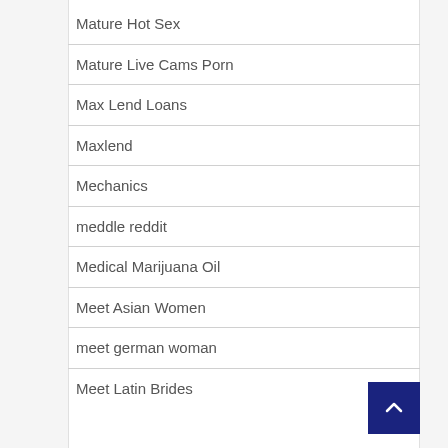Mature Hot Sex
Mature Live Cams Porn
Max Lend Loans
Maxlend
Mechanics
meddle reddit
Medical Marijuana Oil
Meet Asian Women
meet german woman
Meet Latin Brides